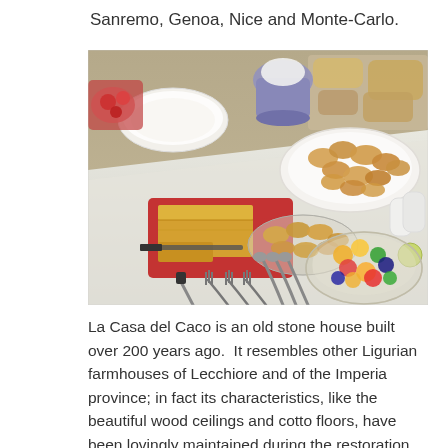Sanremo, Genoa, Nice and Monte-Carlo.
[Figure (photo): A breakfast or buffet table spread with various dishes including a fruit salad in a glass bowl, pastries on a pedestal dish, a cake or flan on a red plate, bread rolls on a large white plate, and cutlery arranged on a white tablecloth.]
La Casa del Caco is an old stone house built over 200 years ago.  It resembles other Ligurian farmhouses of Lecchiore and of the Imperia province; in fact its characteristics, like the beautiful wood ceilings and cotto floors, have been lovingly maintained during the restoration.  But these traditional rooms have been furnished with modern and contemporary furniture and